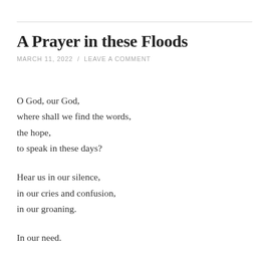A Prayer in these Floods
MARCH 11, 2022 / LEAVE A COMMENT
O God, our God,
where shall we find the words,
the hope,
to speak in these days?
Hear us in our silence,
in our cries and confusion,
in our groaning.
In our need.